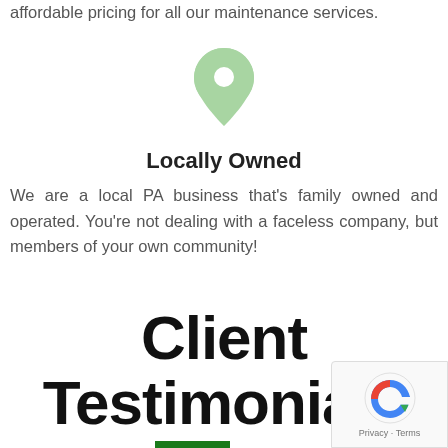affordable pricing for all our maintenance services.
[Figure (illustration): Green map pin / location marker icon]
Locally Owned
We are a local PA business that's family owned and operated. You're not dealing with a faceless company, but members of your own community!
Client Testimonials